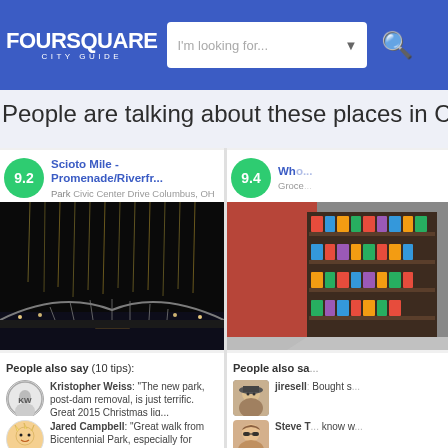FOURSQUARE CITY GUIDE
People are talking about these places in C...
9.2 Scioto Mile - Promenade/Riverfr... Park Civic Center Drive Columbus, OH
[Figure (photo): Night photo of Scioto Mile riverfront with arch bridge and light reflections]
9.4 Who... Groce...
[Figure (photo): Interior of grocery store showing shelves with products]
People also say (10 tips):
People also sa...
Kristopher Weiss: "The new park, post-dam removal, is just terrific. Great 2015 Christmas lig...
Jared Campbell: "Great walk from Bicentennial Park, especially for dates. Stop and sit on the p...
jiresell: Bought s...
Steve T... know w...